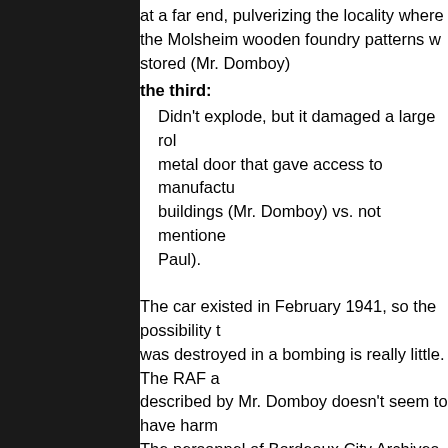at a far end, pulverizing the locality where the Molsheim wooden foundry patterns were stored (Mr. Domboy)
the third:
Didn't explode, but it damaged a large rolling metal door that gave access to manufacturing buildings (Mr. Domboy) vs. not mentioned (Mr. Paul).
The car existed in February 1941, so the possibility that it was destroyed in a bombing is really little. The RAF attack described by Mr. Domboy doesn't seem to have harmed it. The personnel of Bordeaux City Archives didn't find any information about another bombings (http://motofiction.eu/the-57453-destroyed-in-bordeaux-forget-that-fiction/).
According to the...